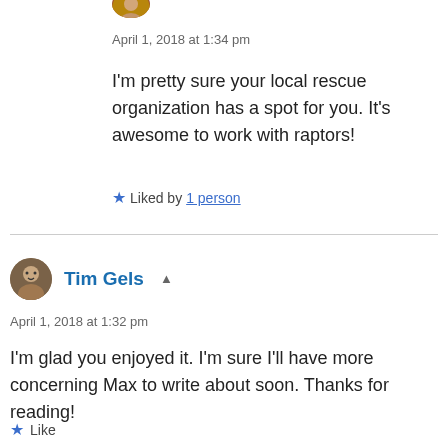April 1, 2018 at 1:34 pm
I'm pretty sure your local rescue organization has a spot for you. It's awesome to work with raptors!
★ Liked by 1 person
Tim Gels
April 1, 2018 at 1:32 pm
I'm glad you enjoyed it. I'm sure I'll have more concerning Max to write about soon. Thanks for reading!
★ Like